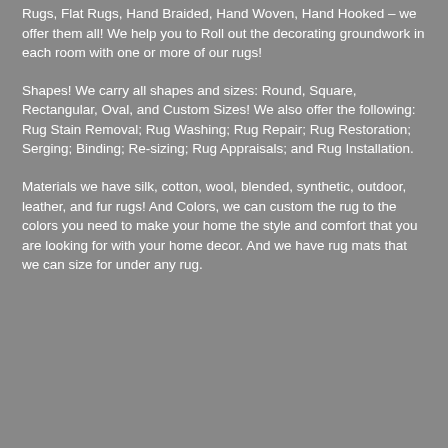Rugs, Flat Rugs, Hand Braided, Hand Woven, Hand Hooked – we offer them all! We help you to Roll out the decorating groundwork in each room with one or more of our rugs!
Shapes! We carry all shapes and sizes: Round, Square, Rectangular, Oval, and Custom Sizes! We also offer the following: Rug Stain Removal; Rug Washing; Rug Repair; Rug Restoration; Serging; Binding; Re-sizing; Rug Appraisals; and Rug Installation.
Materials we have silk, cotton, wool, blended, synthetic, outdoor, leather, and fur rugs! And Colors, we can custom the rug to the colors you need to make your home the style and comfort that you are looking for with your home decor. And we have rug mats that we can size for under any rug.